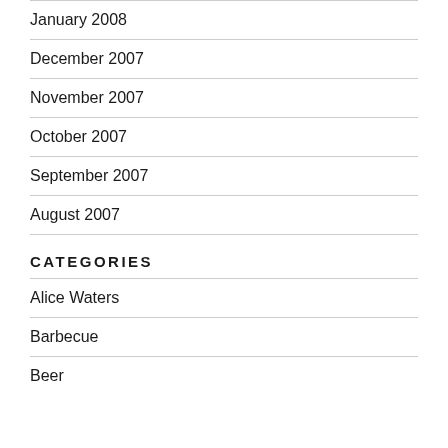January 2008
December 2007
November 2007
October 2007
September 2007
August 2007
CATEGORIES
Alice Waters
Barbecue
Beer